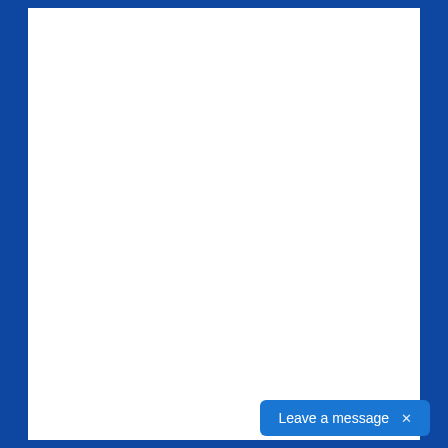[Figure (screenshot): A mostly blank white page area with a blue border/background on the left and right sides. At the bottom right, there is a blue rounded-rectangle chat button labeled 'Leave a message' with an 'x' close button.]
Leave a message ×